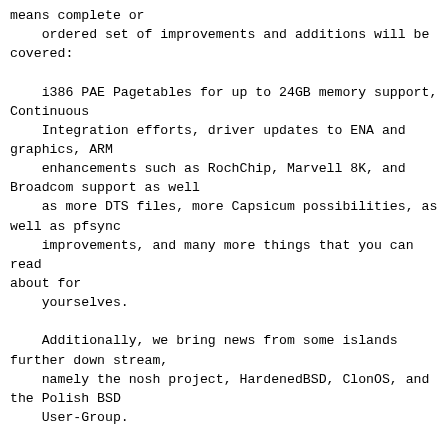means complete or
    ordered set of improvements and additions will be
covered:

    i386 PAE Pagetables for up to 24GB memory support,
Continuous
    Integration efforts, driver updates to ENA and
graphics, ARM
    enhancements such as RochChip, Marvell 8K, and
Broadcom support as well
    as more DTS files, more Capsicum possibilities, as
well as pfsync
    improvements, and many more things that you can read
about for
    yourselves.

    Additionally, we bring news from some islands
further down stream,
    namely the nosh project, HardenedBSD, ClonOS, and
the Polish BSD
    User-Group.

    We would, selfishly, encourage those of you who give
us the good word
    to please send in your submissions sooner than just
before the
    deadline, and also encourage anyone willing to share
the good word to
    please read the section on which submissions we're
also interested in